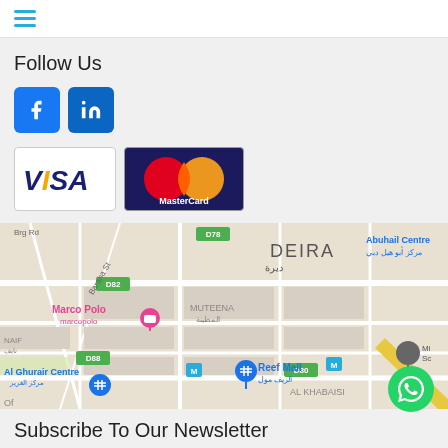hamburger menu icon
Follow Us
[Figure (infographic): Facebook and LinkedIn social media buttons]
[Figure (infographic): Visa and MasterCard payment logos]
[Figure (map): Google Maps view of Deira area in Dubai showing Marco Polo, Al Ghurair Centre, Reef Mall, Abuhail Centre, and surrounding streets]
Subscribe To Our Newsletter